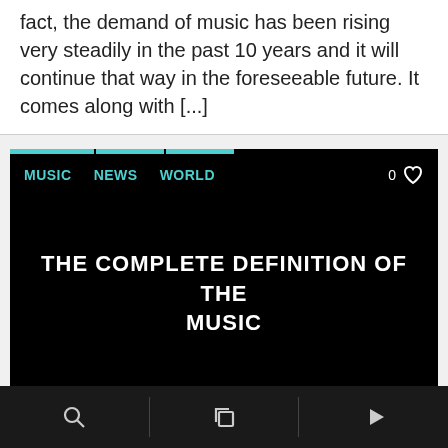fact, the demand of music has been rising very steadily in the past 10 years and it will continue that way in the foreseeable future. It comes along with [...]
[Figure (screenshot): A dark-themed website card showing navigation tabs (MUSIC, NEWS, WORLD), a heart/like button with '0', and a centered article title 'THE COMPLETE DEFINITION OF THE MUSIC' on a black background, with author 'minvoices.oxonk5' at the bottom and a red button.]
Browser bottom navigation bar with search, copy, and play icons